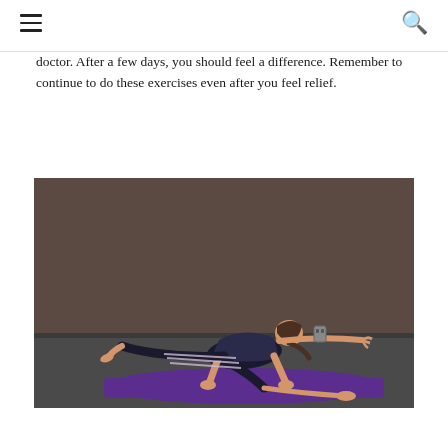[hamburger menu] [search icon]
doctor. After a few days, you should feel a difference. Remember to continue to do these exercises even after you feel relief.
[Figure (photo): Woman in black workout clothes performing a bird-dog exercise on a purple yoga mat in a studio with dark walls. She is on hands and knees with her left leg extended back and her right arm extended forward.]